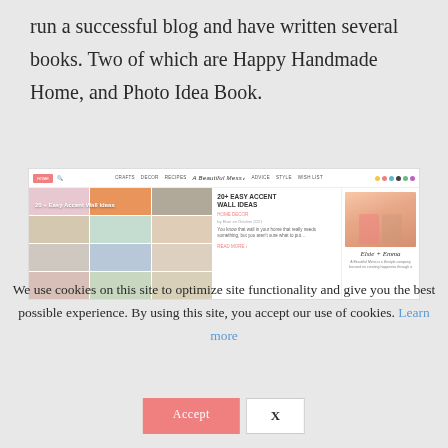run a successful blog and have written several books. Two of which are Happy Handmade Home, and Photo Idea Book.
[Figure (screenshot): Screenshot of a lifestyle blog website showing navigation bar, article about '20+ Easy Accent Wall Ideas', a photo grid on the left, article excerpt in the middle, and a photo of two women (Elsie + Emma) on the right with a signature and tagline.]
We use cookies on this site to optimize site functionality and give you the best possible experience. By using this site, you accept our use of cookies. Learn more
Accept
X